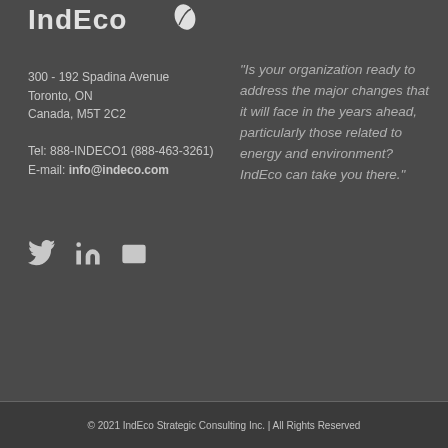[Figure (logo): IndEco logo in white/light text on dark background]
300 - 192 Spadina Avenue
Toronto, ON
Canada, M5T 2C2

Tel: 888-INDECO1 (888-463-3261)
E-mail: info@indeco.com
[Figure (other): Social media icons: Twitter bird, LinkedIn 'in', envelope/email]
"Is your organization ready to address the major changes that it will face in the years ahead, particularly those related to energy and environment? IndEco can take you there."
© 2021 IndEco Strategic Consulting Inc. | All Rights Reserved